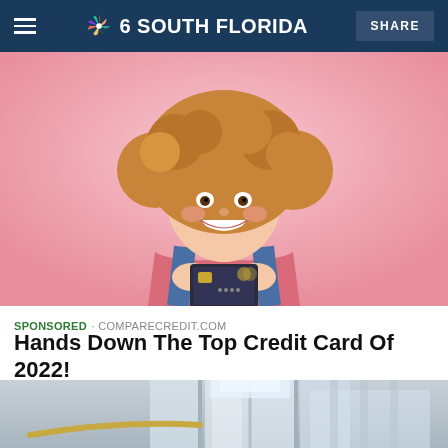NBC 6 SOUTH FLORIDA | SHARE
[Figure (photo): Smiling young woman with curly hair holding a black credit card against a pink background]
SPONSORED · COMPARECREDIT.COM
Hands Down The Top Credit Card Of 2022!
[Figure (photo): Interior view of a glass elevator or staircase in a modern building with natural light]